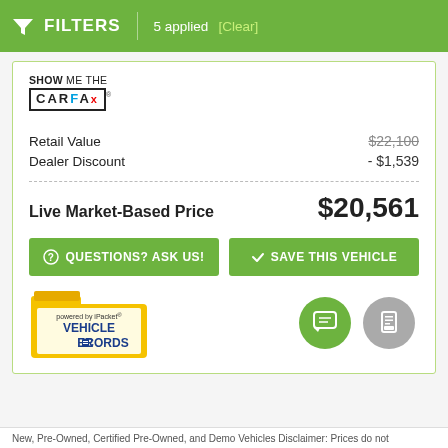FILTERS | 5 applied [Clear]
[Figure (logo): SHOW ME THE CARFAX logo]
Retail Value  $22,100
Dealer Discount  - $1,539
Live Market-Based Price  $20,561
QUESTIONS? ASK US!  SAVE THIS VEHICLE
[Figure (logo): Powered by iPacket Vehicle Records badge]
New, Pre-Owned, Certified Pre-Owned, and Demo Vehicles Disclaimer: Prices do not